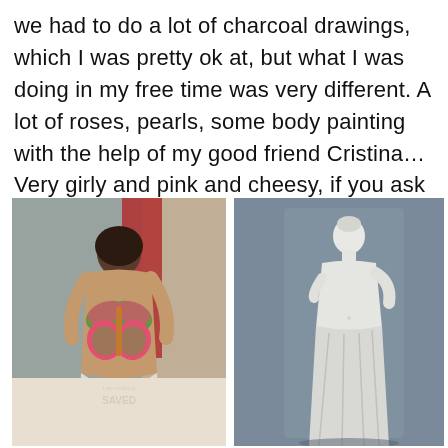we had to do a lot of charcoal drawings, which I was pretty ok at, but what I was doing in my free time was very different. A lot of roses, pearls, some body painting with the help of my good friend Cristina… Very girly and pink and cheesy, if you ask me now.
[Figure (photo): Photo of a person with body painting on their back showing a butterfly design in pink and green, with text 'SAVED' written on their lower back. They are sitting on a bed in front of floral wallpaper with a red curtain.]
[Figure (photo): Black and white photograph of the Venus de Milo statue, a classical Greek marble sculpture of a female figure with missing arms, against a grey background.]